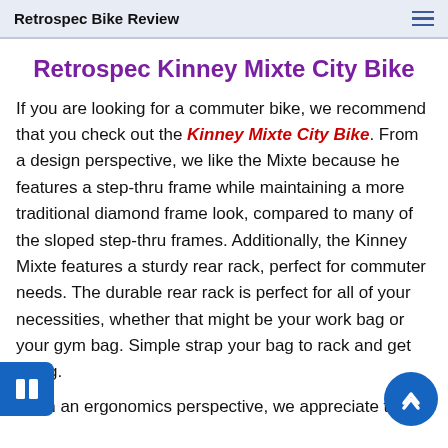Retrospec Bike Review
Retrospec Kinney Mixte City Bike
If you are looking for a commuter bike, we recommend that you check out the Kinney Mixte City Bike. From a design perspective, we like the Mixte because he features a step-thru frame while maintaining a more traditional diamond frame look, compared to many of the sloped step-thru frames. Additionally, the Kinney Mixte features a sturdy rear rack, perfect for commuter needs. The durable rear rack is perfect for all of your necessities, whether that might be your work bag or your gym bag. Simple strap your bag to rack and get riding.
From an ergonomics perspective, we appreciate that